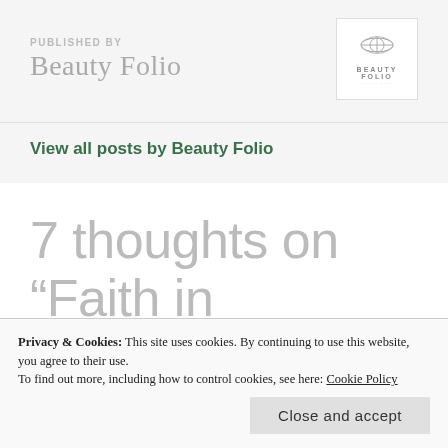PUBLISHED BY
Beauty Folio
View all posts by Beauty Folio
7 thoughts on “Faith in Nature: Grapefruit & Orange Shampoo and
Privacy & Cookies: This site uses cookies. By continuing to use this website, you agree to their use.
To find out more, including how to control cookies, see here: Cookie Policy
Close and accept
MARCH 7, 2018 AT 4:34 AM